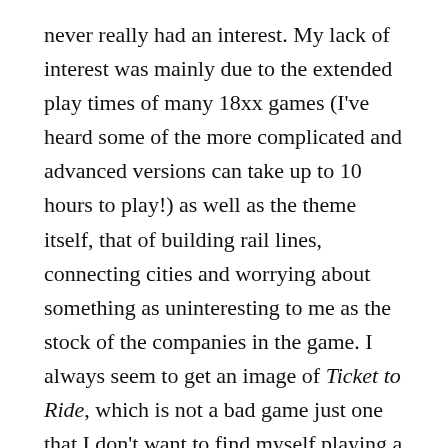never really had an interest. My lack of interest was mainly due to the extended play times of many 18xx games (I've heard some of the more complicated and advanced versions can take up to 10 hours to play!) as well as the theme itself, that of building rail lines, connecting cities and worrying about something as uninteresting to me as the stock of the companies in the game. I always seem to get an image of Ticket to Ride, which is not a bad game just one that I don't want to find myself playing a lot!
But, when 1846 was resurrected by GMT Games and given the deluxe edition treatment in their reprint version, I was immediately interested mainly because GMT is a solid gold game